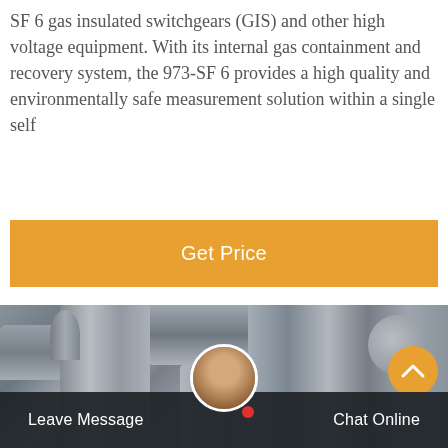SF 6 gas insulated switchgears (GIS) and other high voltage equipment. With its internal gas containment and recovery system, the 973-SF 6 provides a high quality and environmentally safe measurement solution within a single self
Get Price
[Figure (photo): Industrial SF6 gas insulated switchgear (GIS) equipment — large metallic pipes, valves, and high voltage apparatus photographed outdoors]
Leave Message
Chat Online